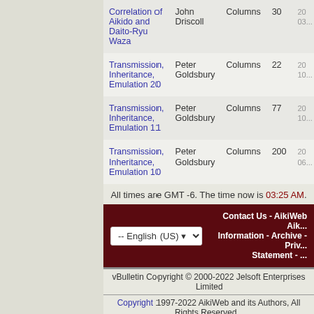| Title | Author | Type | Replies | Date |
| --- | --- | --- | --- | --- |
| Correlation of Aikido and Daito-Ryu Waza | John Driscoll | Columns | 30 | 20... 03... |
| Transmission, Inheritance, Emulation 20 | Peter Goldsbury | Columns | 22 | 20... 10... |
| Transmission, Inheritance, Emulation 11 | Peter Goldsbury | Columns | 77 | 20... 10... |
| Transmission, Inheritance, Emulation 10 | Peter Goldsbury | Columns | 200 | 20... 06... |
All times are GMT -6. The time now is 03:25 AM.
Contact Us - AikiWeb Aik... Information - Archive - Priv... Statement - ...
vBulletin Copyright © 2000-2022 Jelsoft Enterprises Limited
Copyright 1997-2022 AikiWeb and its Authors, All Rights Reserved
For questions and comments about this website: Send E-mail